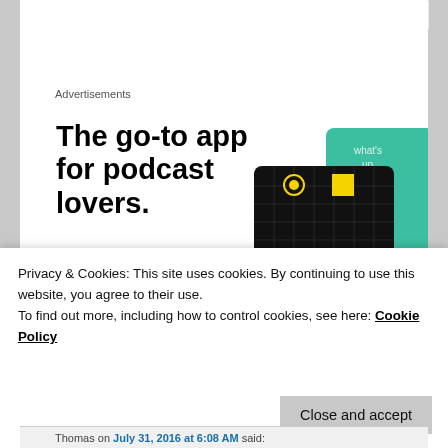Advertisements
[Figure (illustration): Advertisement banner: 'The go-to app for podcast lovers. Download now' with app card illustrations including 99% Invisible podcast card on a black grid background, and a green card.]
Privacy & Cookies: This site uses cookies. By continuing to use this website, you agree to their use.
To find out more, including how to control cookies, see here: Cookie Policy
Thomas on July 31, 2016 at 6:08 AM said: